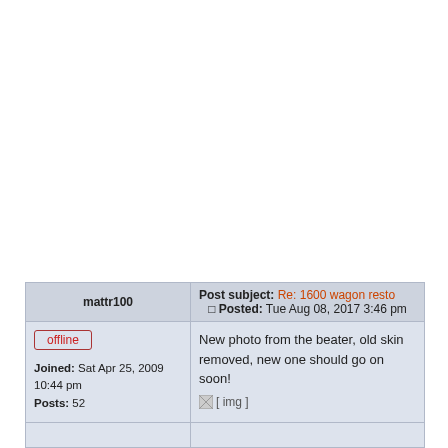| mattr100 | Post subject: Re: 1600 wagon resto | Posted: Tue Aug 08, 2017 3:46 pm |
| --- | --- |
| offline
Joined: Sat Apr 25, 2009 10:44 pm
Posts: 52 | New photo from the beater, old skin removed, new one should go on soon!
[ img ] |
|  |  |